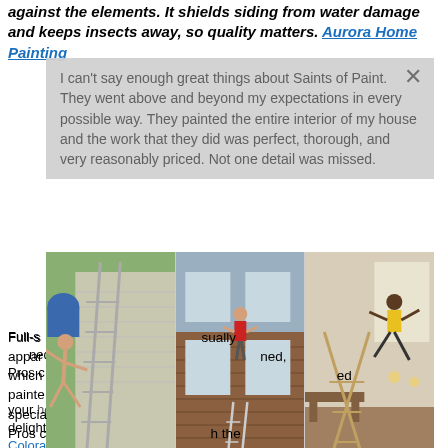against the elements. It shields siding from water damage and keeps insects away, so quality matters. Aurora Home Painting
I can't say enough great things about Saints of Paint. They went above and beyond my expectations in every possible way. They painted the entire interior of my house and the work that they did was perfect, thorough, and very reasonably priced. Not one detail was missed.
[Figure (photo): Three photos side by side: left shows a person doing a gymnastics move near a house with siding and a ladder; middle shows a person in red climbing on the side of a brick house; right shows a person in a yellow shirt doing a gymnastic move near a ladder indoors.]
Full-service exterior painting is usually apparent when you drive by a well-maintained, which is one reason why professional painters have consistently been the specialty. Pros combine the reliability, affordability, and versatility to ensure that when your home needs a full house painting you're sure to be delighted with the results for years to come! House Painting Aurora Colorado
Contact us at webmaster@gclub12.top | Sitemap txt |